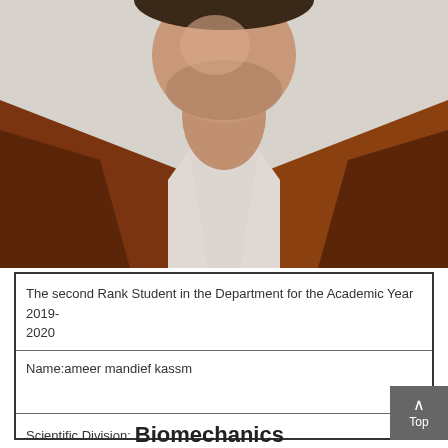[Figure (photo): Headshot/upper body photo of a man with a beard wearing a brown jacket over a white/light shirt, photographed against a light gray background. The photo is cropped showing from approximately the chest up.]
The second Rank Student in the Department for the Academic Year 2019-2020
Name:ameer mandief kassm
Scientific Division: Biomechanics